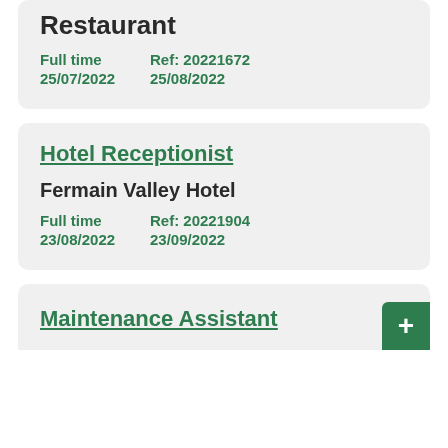Restaurant
Full time    Ref: 20221672
25/07/2022    25/08/2022
Hotel Receptionist
Fermain Valley Hotel
Full time    Ref: 20221904
23/08/2022    23/09/2022
Maintenance Assistant